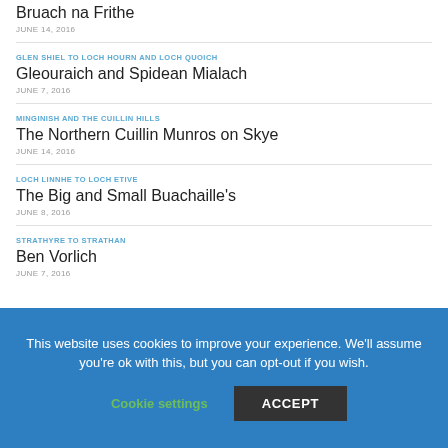Bruach na Frithe
JUNE 14, 2016
GLEN SHIEL TO LOCH HOURN AND LOCH QUOICH
Gleouraich and Spidean Mialach
JUNE 7, 2016
MINGINISH AND THE CUILLIN HILLS
The Northern Cuillin Munros on Skye
JUNE 14, 2016
LOCH LINNHE TO LOCH ETIVE
The Big and Small Buachaille's
JUNE 8, 2016
STRATHYRE TO STRATHAN
Ben Vorlich
JUNE 7, 2016
This website uses cookies to improve your experience. We'll assume you're ok with this, but you can opt-out if you wish.
Cookie settings
ACCEPT